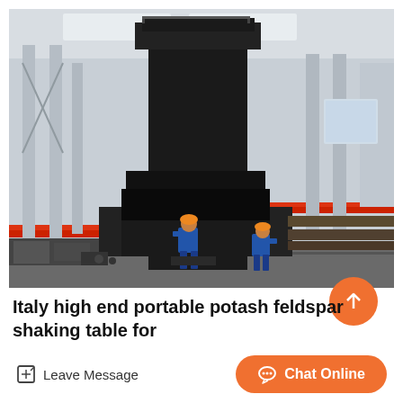[Figure (photo): Industrial factory interior showing workers assembling or working on a large heavy black metal machine/shaking table structure. The factory has white steel columns, overhead red crane beams, and high ceilings with natural lighting. Two workers in blue coveralls and orange helmets are visible working at the base of the large machine.]
Italy high end portable potash feldspar shaking table for